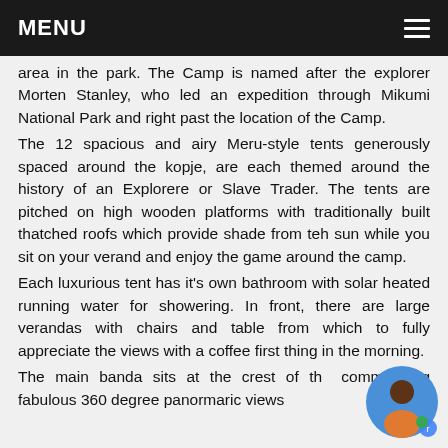MENU
area in the park. The Camp is named after the explorer Morten Stanley, who led an expedition through Mikumi National Park and right past the location of the Camp.
The 12 spacious and airy Meru-style tents generously spaced around the kopje, are each themed around the history of an Explorere or Slave Trader. The tents are pitched on high wooden platforms with traditionally built thatched roofs which provide shade from teh sun while you sit on your verand and enjoy the game around the camp.
Each luxurious tent has it's own bathroom with solar heated running water for showering. In front, there are large verandas with chairs and table from which to fully appreciate the views with a coffee first thing in the morning.
The main banda sits at the crest of th commanding fabulous 360 degree panormaric views